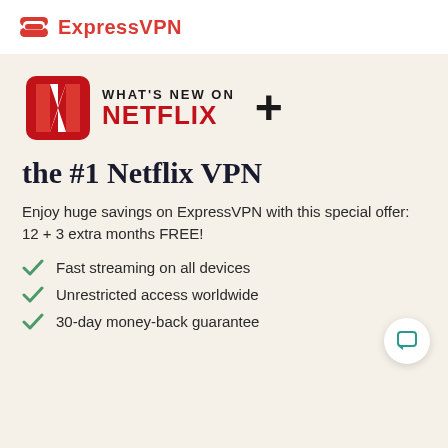[Figure (logo): ExpressVPN logo with icon and text in red]
[Figure (logo): What's New on Netflix logo with Netflix N icon in red, plus sign, and tagline 'the #1 Netflix VPN']
the #1 Netflix VPN
Enjoy huge savings on ExpressVPN with this special offer: 12 + 3 extra months FREE!
Fast streaming on all devices
Unrestricted access worldwide
30-day money-back guarantee